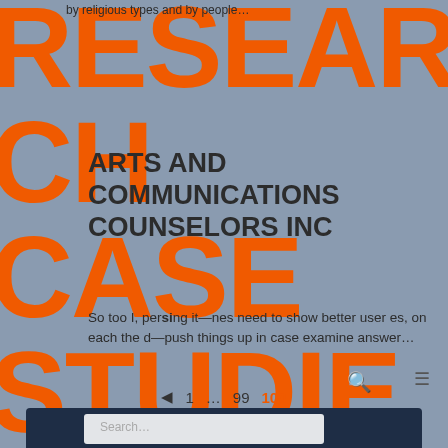by religious types and by people…
RESEARCH CASE STUDIES SOLUTION AND ANALYSIS
ARTS AND COMMUNICATIONS COUNSELORS INC
So too I, perusing it—nes need to show better user es, on each the d—push things up in case examine answer…
🔍 ≡
◄ 1 … 99 100
Search…